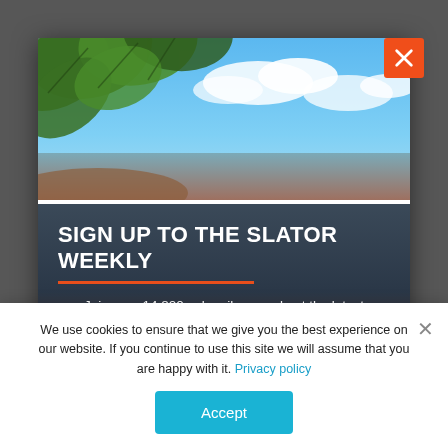[Figure (photo): Tropical beach scene with green leaves hanging over a bright blue sky with clouds, and beach/water in the background]
SIGN UP TO THE SLATOR WEEKLY
Join over 14,800 subscribers and get the latest language industry intelligence every Friday
Email address
We use cookies to ensure that we give you the best experience on our website. If you continue to use this site we will assume that you are happy with it. Privacy policy
Accept